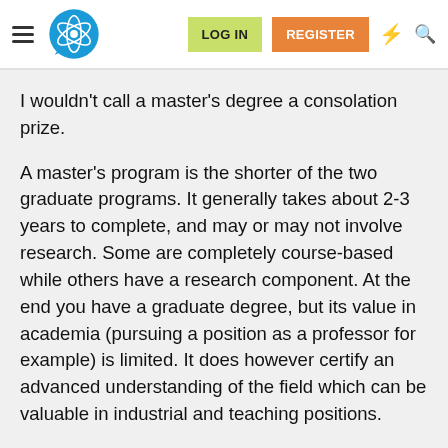LOG IN | REGISTER
I wouldn't call a master's degree a consolation prize.
A master's program is the shorter of the two graduate programs. It generally takes about 2-3 years to complete, and may or may not involve research. Some are completely course-based while others have a research component. At the end you have a graduate degree, but its value in academia (pursuing a position as a professor for example) is limited. It does however certify an advanced understanding of the field which can be valuable in industrial and teaching positions.